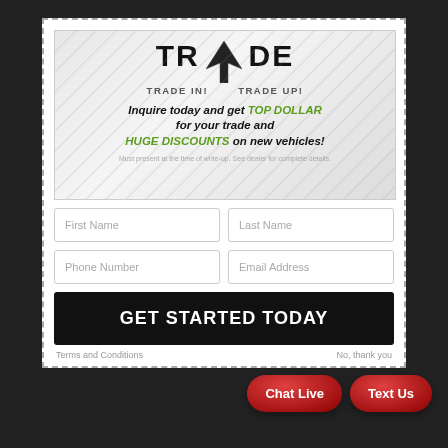[Figure (illustration): Trade In! Trade Up! promotional banner with logo showing a dark arrow/swoop graphic and text 'TRADE IN! TRADE UP!' over a diagonal striped background, with italic promotional text: 'Inquire today and get TOP DOLLAR for your trade and HUGE DISCOUNTS on new vehicles!' Fine print: 'Must present at the time of write-up. See dealer for complete details.']
First Name
Last Name
Phone Number
Email Address
GET STARTED TODAY
Chat Live
Text Us
Terms and Conditions
No, thank you